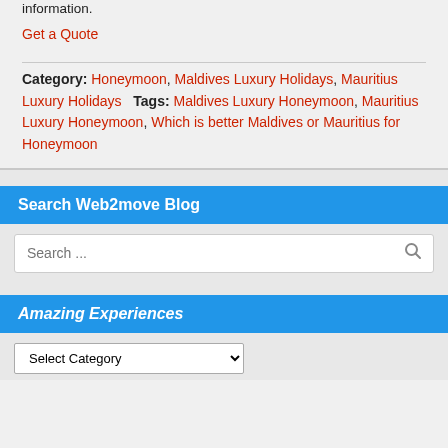information.
Get a Quote
Category: Honeymoon, Maldives Luxury Holidays, Mauritius Luxury Holidays   Tags: Maldives Luxury Honeymoon, Mauritius Luxury Honeymoon, Which is better Maldives or Mauritius for Honeymoon
Search Web2move Blog
Search ...
Amazing Experiences
Select Category